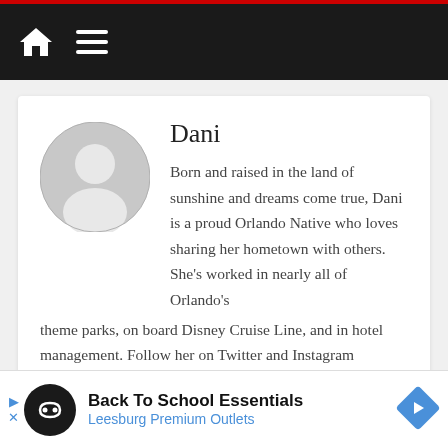Navigation bar with home icon and menu icon
Dani
Born and raised in the land of sunshine and dreams come true, Dani is a proud Orlando Native who loves sharing her hometown with others. She's worked in nearly all of Orlando's theme parks, on board Disney Cruise Line, and in hotel management. Follow her on Twitter and Instagram @thisfloridalife
[Figure (infographic): Ad banner: Back To School Essentials - Leesburg Premium Outlets]
Back To School Essentials Leesburg Premium Outlets